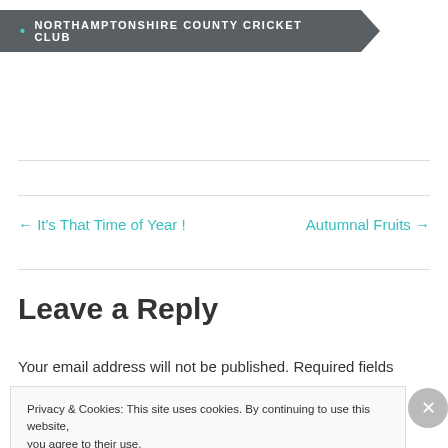• NORTHAMPTONSHIRE COUNTY CRICKET CLUB
← It's That Time of Year !
Autumnal Fruits →
Leave a Reply
Your email address will not be published. Required fields
Privacy & Cookies: This site uses cookies. By continuing to use this website, you agree to their use.
To find out more, including how to control cookies, see here: Cookie Policy
Close and accept